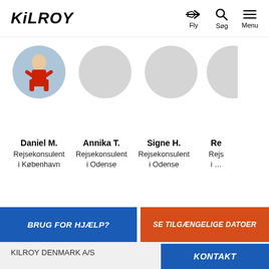KILROY | Fly | Søg | Menu
[Figure (photo): Profile photo of Daniel M. — person in red outfit]
Daniel M.
Rejsekonsulent
i København
[Figure (illustration): Grey placeholder circle for Annika T.]
Annika T.
Rejsekonsulent
i Odense
[Figure (illustration): Grey placeholder circle for Signe H.]
Signe H.
Rejsekonsulent
i Odense
[Figure (illustration): Partial grey placeholder circle for fourth consultant]
Re…
Rejs…
i …
[Figure (logo): KILROY logo in footer]
KILROY DENMARK A/S
BRUG FOR HJÆLP?
SE TILGÆNGELIGE DATOER
KONTAKT